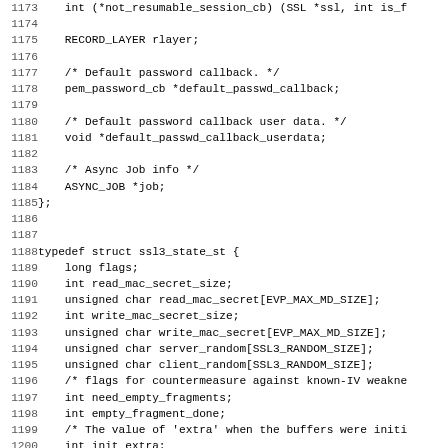Source code listing lines 1173-1205, showing C struct definitions for SSL and SSL3 state structures.